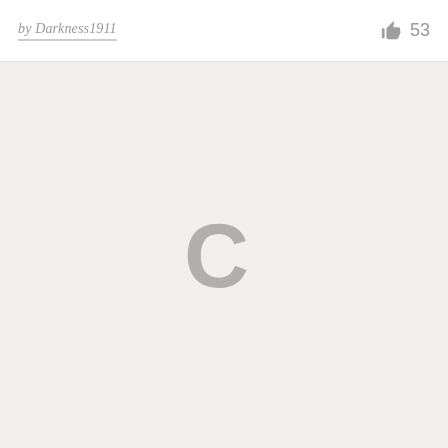by Darkness1911
53
[Figure (screenshot): Loading spinner (letter C shape) centered on a light gray background area]